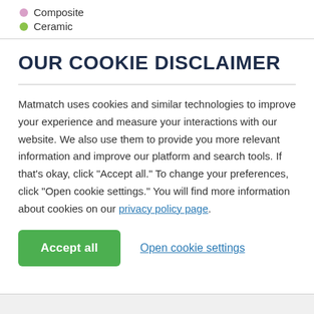Composite
Ceramic
OUR COOKIE DISCLAIMER
Matmatch uses cookies and similar technologies to improve your experience and measure your interactions with our website. We also use them to provide you more relevant information and improve our platform and search tools. If that’s okay, click “Accept all.” To change your preferences, click “Open cookie settings.” You will find more information about cookies on our privacy policy page.
Accept all
Open cookie settings